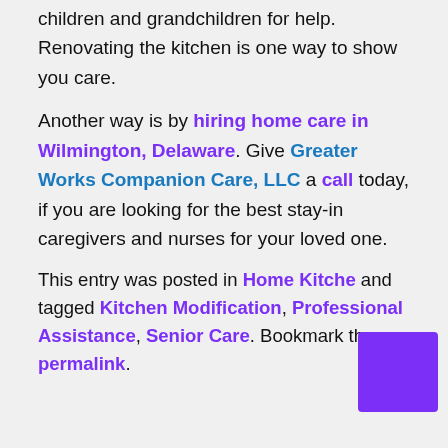children and grandchildren for help. Renovating the kitchen is one way to show you care.
Another way is by hiring home care in Wilmington, Delaware. Give Greater Works Companion Care, LLC a call today, if you are looking for the best stay-in caregivers and nurses for your loved one.
This entry was posted in Home Kitchen and tagged Kitchen Modification, Professional Assistance, Senior Care. Bookmark the permalink.